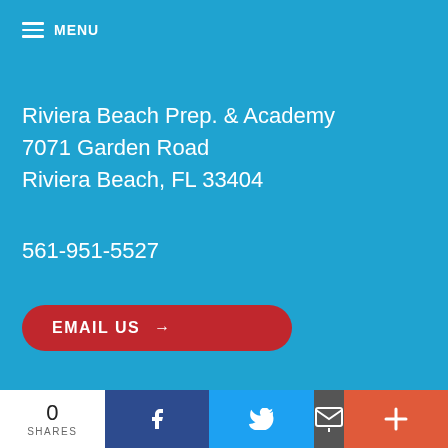MENU
Riviera Beach Prep. & Academy
7071 Garden Road
Riviera Beach, FL 33404
561-951-5527
EMAIL US →
© 2019 Education Foundation of Palm Beach County, Inc. | All Rights Reserved.
Staff Login
0 SHARES